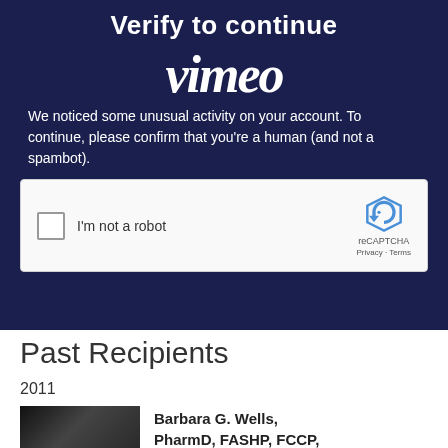[Figure (screenshot): Vimeo 'Verify to continue' page with reCAPTCHA widget on dark navy background. Shows Vimeo logo watermark, text about preventing automated errors, and an 'I'm not a robot' checkbox with reCAPTCHA branding.]
Past Recipients
2011
[Figure (photo): Dark/black photo thumbnail of a person]
Barbara G. Wells, PharmD, FASHP, FCCP,